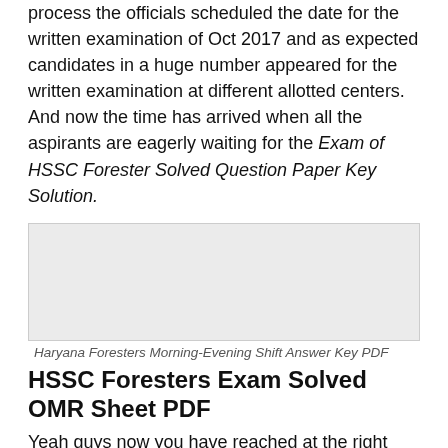process the officials scheduled the date for the written examination of Oct 2017 and as expected candidates in a huge number appeared for the written examination at different allotted centers. And now the time has arrived when all the aspirants are eagerly waiting for the Exam of HSSC Forester Solved Question Paper Key Solution.
[Figure (other): Gray placeholder image box representing an embedded image or advertisement]
Haryana Foresters Morning-Evening Shift Answer Key PDF
HSSC Foresters Exam Solved OMR Sheet PDF
Yeah guys now you have reached at the right place as we are having each and every information regarding the Paper Key Solution of Forester of HSSC. And you will also find at the end of the page the step by step procedure for downloading the answer key from the official web portal. So guys if you want